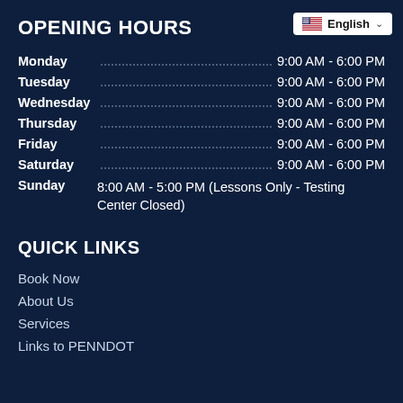OPENING HOURS
Monday 9:00 AM - 6:00 PM
Tuesday 9:00 AM - 6:00 PM
Wednesday 9:00 AM - 6:00 PM
Thursday 9:00 AM - 6:00 PM
Friday 9:00 AM - 6:00 PM
Saturday 9:00 AM - 6:00 PM
Sunday 8:00 AM - 5:00 PM (Lessons Only - Testing Center Closed)
QUICK LINKS
Book Now
About Us
Services
Links to PENNDOT